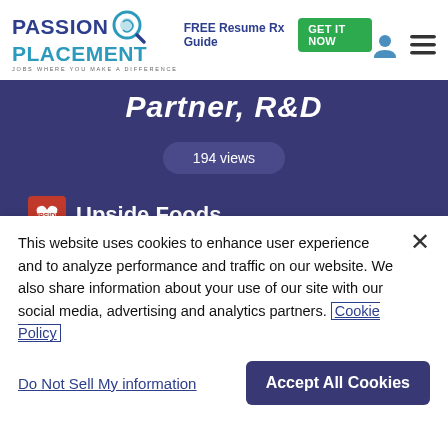[Figure (logo): Passion Placement logo with magnifying glass icon, tagline: JOBS WHERE YOU MAKE A DIFFERENCE]
FREE Resume Rx Guide  GET IT NOW
Partner, R&D
194 views
[Figure (logo): Upside Foods company logo - red heart shape]
Upside Foods
California
April 7, 2022 - July 6, 2022
This website uses cookies to enhance user experience and to analyze performance and traffic on our website. We also share information about your use of our site with our social media, advertising and analytics partners. Cookie Policy
Do Not Sell My information
Accept All Cookies